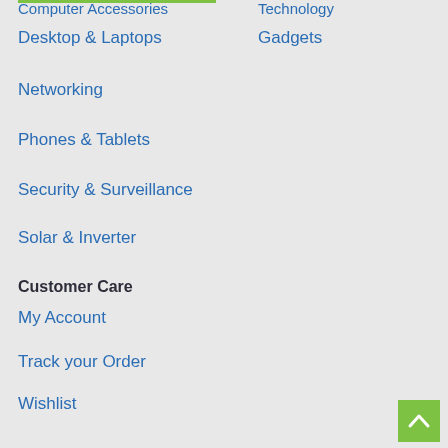Computer Accessories
Technology
Desktop & Laptops
Gadgets
Networking
Phones & Tablets
Security & Surveillance
Solar & Inverter
Customer Care
My Account
Track your Order
Wishlist
Customer Service
Returns/Exchange
FAQs
Product Support